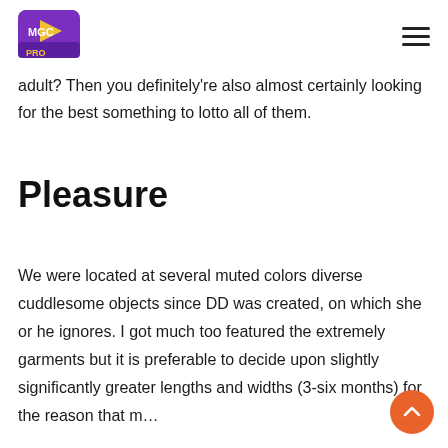MGC PRO logo and navigation menu
adult? Then you definitely're also almost certainly looking for the best something to lotto all of them.
Pleasure
We were located at several muted colors diverse cuddlesome objects since DD was created, on which she or he ignores. I got much too featured the extremely garments but it is preferable to decide upon slightly significantly greater lengths and widths (3-six months) for the reason that m…